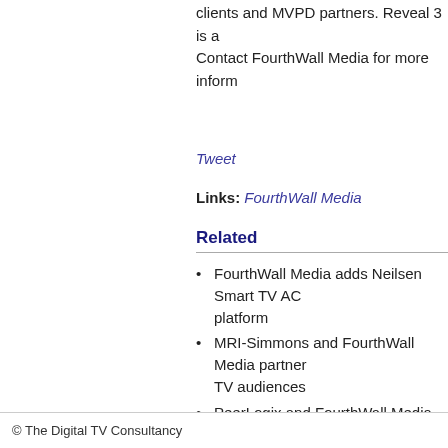clients and MVPD partners. Reveal 3 is a... Contact FourthWall Media for more inform...
Tweet
Links: FourthWall Media
Related
FourthWall Media adds Neilsen Smart TV AC... platform
MRI-Simmons and FourthWall Media partner... TV audiences
PeerLogix and FourthWall Media unify linear... audiences
ZCorum and FourthWall Media partner on cab...
Collective to license FourthWall set-top box a...
© The Digital TV Consultancy